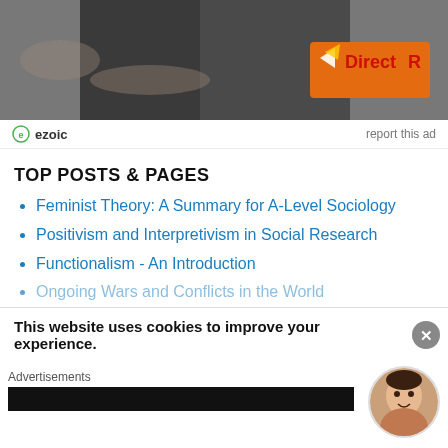[Figure (photo): Advertisement image showing a person in a black jacket with DirectR logo on orange background, set against a debris/scrap background]
ezoic   report this ad
TOP POSTS & PAGES
Feminist Theory: A Summary for A-Level Sociology
Positivism and Interpretivism in Social Research
Functionalism - An Introduction
Ongoing Wars and Conflicts in the World
This website uses cookies to improve your experience.
Advertisements